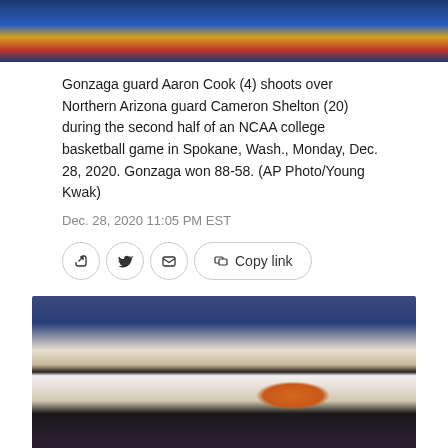[Figure (photo): Partial view of basketball game action photo at top of page, cropped]
Gonzaga guard Aaron Cook (4) shoots over Northern Arizona guard Cameron Shelton (20) during the second half of an NCAA college basketball game in Spokane, Wash., Monday, Dec. 28, 2020. Gonzaga won 88-58. (AP Photo/Young Kwak)
Dec. 28, 2020 11:05 PM EST
[Figure (other): Share buttons row: Facebook, Twitter, Email, Copy link]
[Figure (photo): Basketball game photo showing Gonzaga player (white uniform, #25) with arm raised blocking shot, and opposing player in navy/gold uniform shooting basketball, with crowd/cutouts in background]